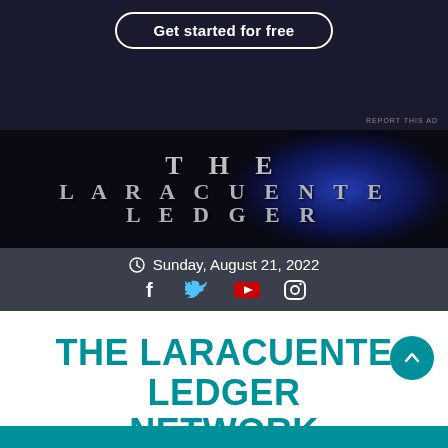[Figure (screenshot): Advertisement banner with dark navy background showing 'Get started for free' button with rounded border]
[Figure (logo): The Laracuente Ledger logo — block serif text on dark background with blue glowing orb]
Sunday, August 21, 2022
THE LARACUENTE LEDGER NETWORK
Site covering multiple topics in the world of baseball, entertainment, pro wrestling and much more.